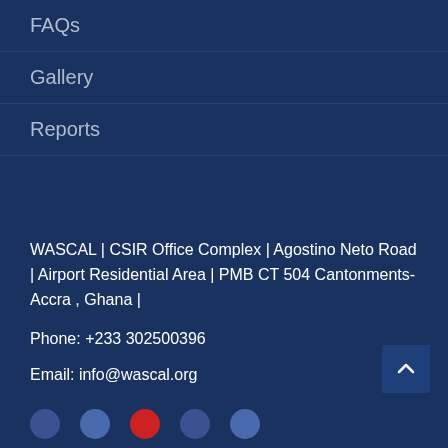FAQs
Gallery
Reports
WASCAL | CSIR Office Complex | Agostino Neto Road | Airport Residential Area | PMB CT 504 Cantonments-Accra , Ghana |
Phone: +233 302500396
Email: info@wascal.org